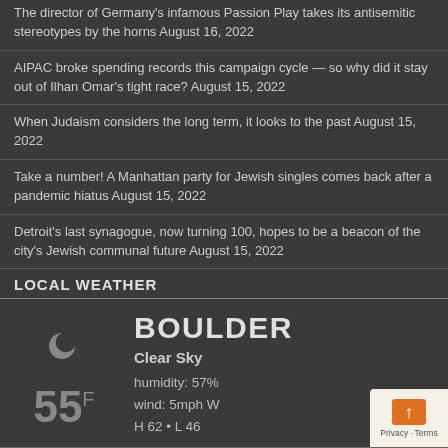The director of Germany's infamous Passion Play takes its antisemitic stereotypes by the horns August 16, 2022
AIPAC broke spending records this campaign cycle — so why did it stay out of Ilhan Omar's tight race? August 15, 2022
When Judaism considers the long term, it looks to the past August 15, 2022
Take a number! A Manhattan party for Jewish singles comes back after a pandemic hiatus August 15, 2022
Detroit's last synagogue, now turning 100, hopes to be a beacon of the city's Jewish communal future August 15, 2022
LOCAL WEATHER
[Figure (infographic): Weather widget showing Boulder, Clear Sky, 55°F, humidity 57%, wind 5mph W, H 62 • L 46, with a crescent moon icon]